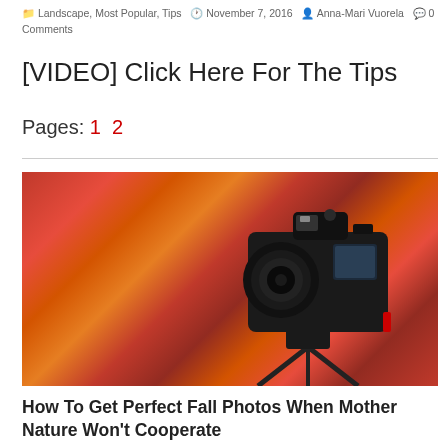Landscape, Most Popular, Tips   November 7, 2016   Anna-Mari Vuorela   0 Comments
[VIDEO] Click Here For The Tips
Pages: 1 2
[Figure (photo): A DSLR camera on a tripod against a background of vivid red and orange autumn foliage]
How To Get Perfect Fall Photos When Mother Nature Won't Cooperate